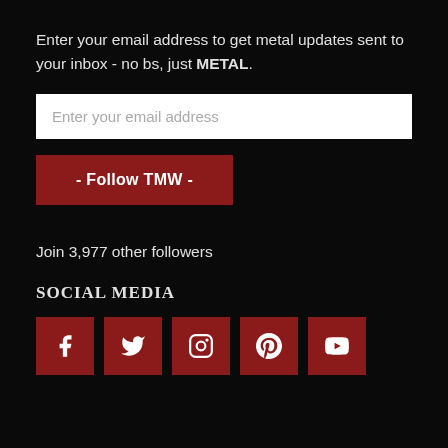Enter your email address to get metal updates sent to your inbox - no bs, just METAL.
Enter your email address
- Follow TMW -
Join 3,977 other followers
SOCIAL MEDIA
[Figure (infographic): Five red square social media icon buttons: Facebook (f), Twitter (bird), Instagram (camera), Pinterest (p), YouTube (play button)]